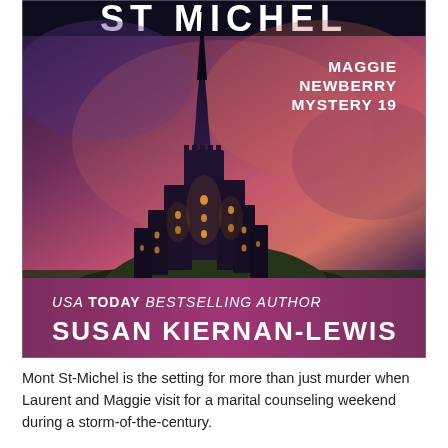[Figure (illustration): Book cover for 'Mont St-Michel' by Susan Kiernan-Lewis. Shows a dramatic illustration of Mont Saint-Michel castle glowing with warm yellow lights against a dark purple and pink sunset sky. The title 'ST MICHEL' appears at the top in large white letters. A badge on the upper right reads 'MAGGIE NEWBERRY MYSTERY 19'. A mauve/pink banner at the bottom reads 'USA TODAY BESTSELLING AUTHOR' and 'SUSAN KIERNAN-LEWIS' in bold white text.]
Mont St-Michel is the setting for more than just murder when Laurent and Maggie visit for a marital counseling weekend during a storm-of-the-century.